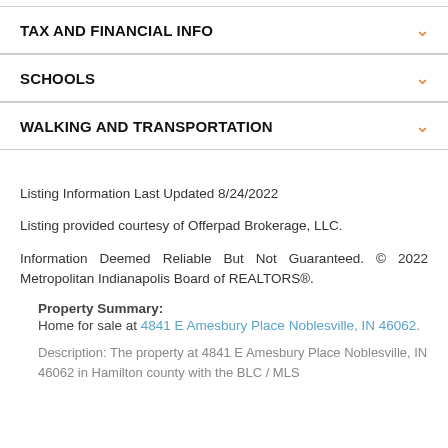TAX AND FINANCIAL INFO
SCHOOLS
WALKING AND TRANSPORTATION
Listing Information Last Updated 8/24/2022
Listing provided courtesy of Offerpad Brokerage, LLC.
Information Deemed Reliable But Not Guaranteed. © 2022 Metropolitan Indianapolis Board of REALTORS®.
Property Summary:
Home for sale at 4841 E Amesbury Place Noblesville, IN 46062.
Description: The property at 4841 E Amesbury Place Noblesville, IN 46062 in Hamilton county with the BLC / MLS